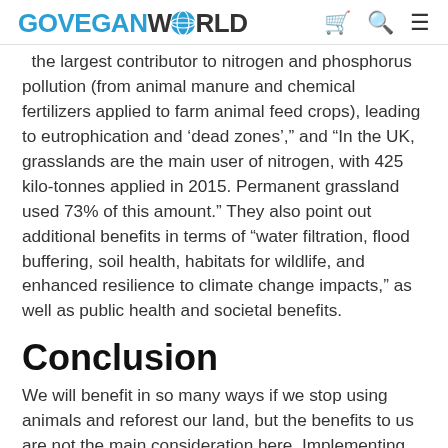GOVEGANWORLD
the largest contributor to nitrogen and phosphorus pollution (from animal manure and chemical fertilizers applied to farm animal feed crops), leading to eutrophication and ‘dead zones’,” and “In the UK, grasslands are the main user of nitrogen, with 425 kilotonnes applied in 2015. Permanent grassland used 73% of this amount.” They also point out additional benefits in terms of “water filtration, flood buffering, soil health, habitats for wildlife, and enhanced resilience to climate change impacts,” as well as public health and societal benefits.
Conclusion
We will benefit in so many ways if we stop using animals and reforest our land, but the benefits to us are not the main consideration here. Implementing this